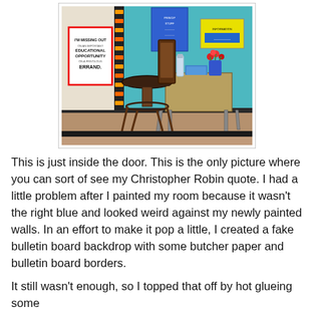[Figure (photo): A classroom corner with teal/turquoise painted walls. A round bar stool sits in front of a student desk. On the wall is a sign reading 'I'M MISSING OUT ON AN IMPORTANT EDUCATIONAL OPPORTUNITY ON A FRIVOLOUS ERRAND.' A blue poster and a yellow sign are also on the wall. On the desk is a blue vase with red flowers, a water bottle, and some books.]
This is just inside the door. This is the only picture where you can sort of see my Christopher Robin quote. I had a little problem after I painted my room because it wasn't the right blue and looked weird against my newly painted walls. In an effort to make it pop a little, I created a fake bulletin board backdrop with some butcher paper and bulletin board borders.
It still wasn't enough, so I topped that off by hot glueing some